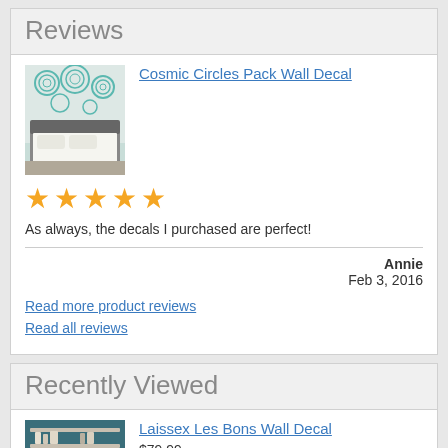Reviews
[Figure (photo): Product image of Cosmic Circles Pack Wall Decal showing circular mandala decals on a bedroom wall above a bed]
Cosmic Circles Pack Wall Decal
[Figure (other): 5 orange star rating]
As always, the decals I purchased are perfect!
Annie
Feb 3, 2016
Read more product reviews
Read all reviews
Recently Viewed
[Figure (photo): Product image of Laissex Les Bons Wall Decal showing script text decal on a teal kitchen wall]
Laissex Les Bons Wall Decal
$79.99